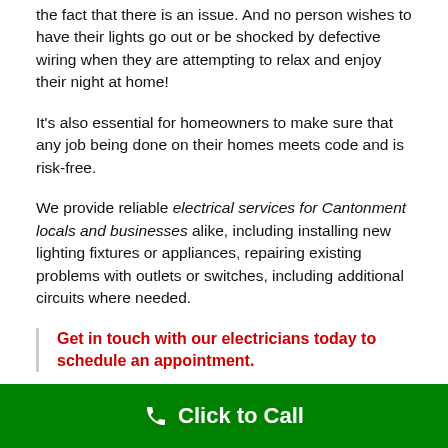the fact that there is an issue. And no person wishes to have their lights go out or be shocked by defective wiring when they are attempting to relax and enjoy their night at home!
It's also essential for homeowners to make sure that any job being done on their homes meets code and is risk-free.
We provide reliable electrical services for Cantonment locals and businesses alike, including installing new lighting fixtures or appliances, repairing existing problems with outlets or switches, including additional circuits where needed.
Get in touch with our electricians today to schedule an appointment.
Click to Call